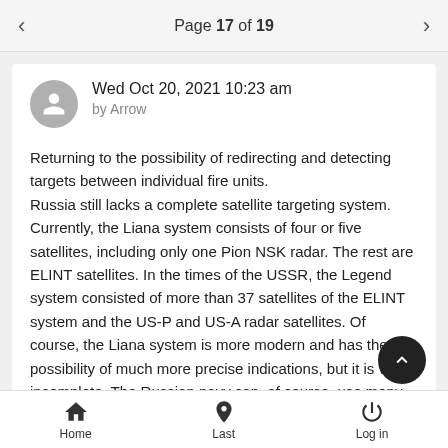Page 17 of 19
Wed Oct 20, 2021 10:23 am
by Arrow
Returning to the possibility of redirecting and detecting targets between individual fire units.
Russia still lacks a complete satellite targeting system. Currently, the Liana system consists of four or five satellites, including only one Pion NSK radar. The rest are ELINT satellites. In the times of the USSR, the Legend system consisted of more than 37 satellites of the ELINT system and the US-P and US-A radar satellites. Of course, the Liana system is more modern and has the possibility of much more precise indications, but it is very incomplete. The Russian navy can, of course, use many sources of indication and detection, such as ship radars, sonars,
Home  Last  Log in